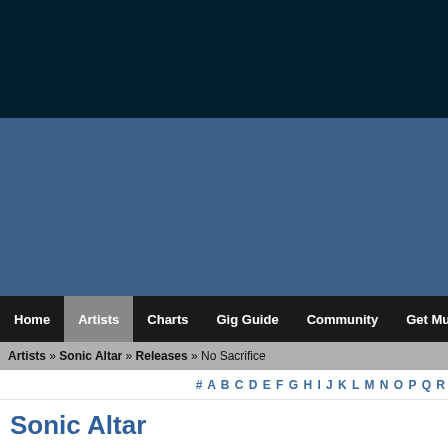[Figure (other): Dark navy header background block]
[Figure (other): Blue-grey banner/advertisement area]
Home | Artists | Charts | Gig Guide | Community | Get Music | Galle
Artists » Sonic Altar » Releases » No Sacrifice
# A B C D E F G H I J K L M N O P Q R
Sonic Altar
Releases
No Sacrifice